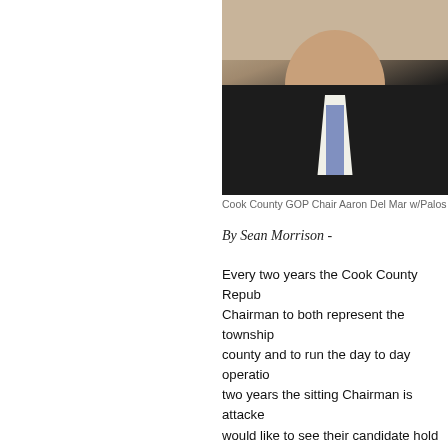[Figure (photo): Portrait photo of Cook County GOP Chair Aaron Del Mar in a dark suit, white shirt, and purple tie, smiling, against a beige background.]
Cook County GOP Chair Aaron Del Mar w/Palos T
By Sean Morrison -
Every two years the Cook County Repub... Chairman to both represent the township... county and to run the day to day operatio... two years the sitting Chairman is attacke... would like to see their candidate hold the... leaders donate their time, money, and ef... Republican party. We've seen initiatives... proposed and committed to die off before... time is spent fighting one another rather... defeating the Democrats.
What makes this worse is that much like...